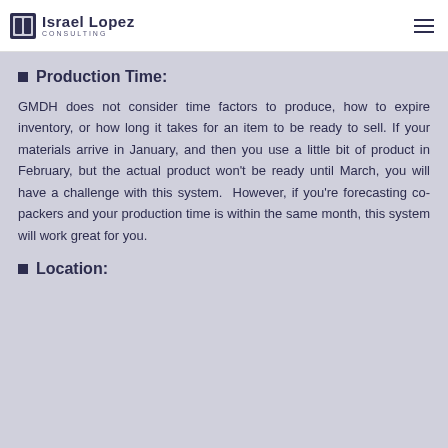Israel Lopez CONSULTING
Production Time:
GMDH does not consider time factors to produce, how to expire inventory, or how long it takes for an item to be ready to sell. If your materials arrive in January, and then you use a little bit of product in February, but the actual product won't be ready until March, you will have a challenge with this system.  However, if you're forecasting co-packers and your production time is within the same month, this system will work great for you.
Location: